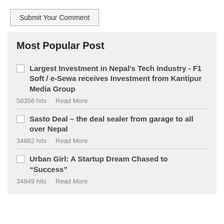Submit Your Comment
Most Popular Post
Largest Investment in Nepal's Tech Industry - F1 Soft / e-Sewa receives Investment from Kantipur Media Group
58356 hits   Read More
Sasto Deal – the deal sealer from garage to all over Nepal
34862 hits   Read More
Urban Girl: A Startup Dream Chased to "Success"
34849 hits   Read More